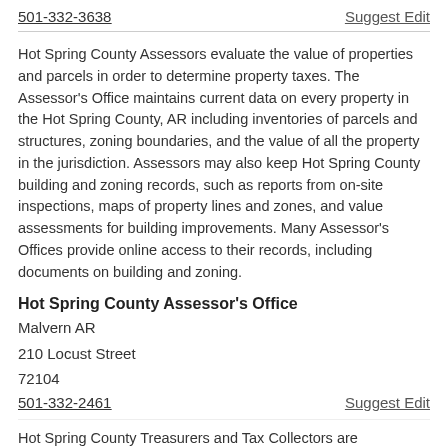501-332-3638
Suggest Edit
Hot Spring County Assessors evaluate the value of properties and parcels in order to determine property taxes. The Assessor's Office maintains current data on every property in the Hot Spring County, AR including inventories of parcels and structures, zoning boundaries, and the value of all the property in the jurisdiction. Assessors may also keep Hot Spring County building and zoning records, such as reports from on-site inspections, maps of property lines and zones, and value assessments for building improvements. Many Assessor's Offices provide online access to their records, including documents on building and zoning.
Hot Spring County Assessor's Office
Malvern AR
210 Locust Street
72104
501-332-2461
Suggest Edit
Hot Spring County Treasurers and Tax Collectors are responsible